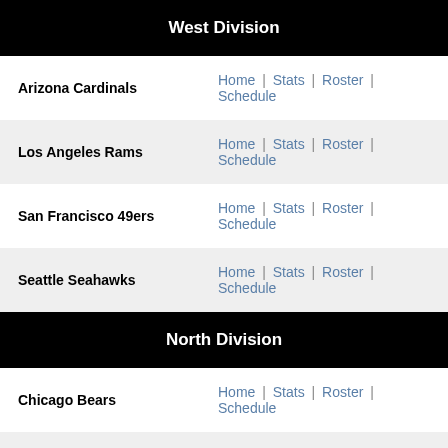West Division
Arizona Cardinals — Home | Stats | Roster | Schedule
Los Angeles Rams — Home | Stats | Roster | Schedule
San Francisco 49ers — Home | Stats | Roster | Schedule
Seattle Seahawks — Home | Stats | Roster | Schedule
North Division
Chicago Bears — Home | Stats | Roster | Schedule